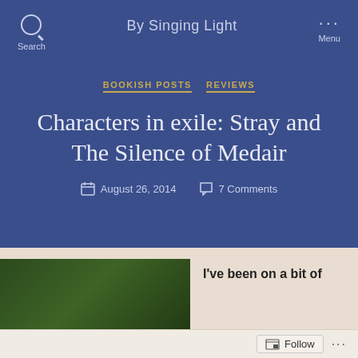By Singing Light
BOOKISH POSTS   REVIEWS
Characters in exile: Stray and The Silence of Medair
August 26, 2014   7 Comments
[Figure (photo): Partial book cover image with green background and stylized text reading 'strane' or similar]
I've been on a bit of